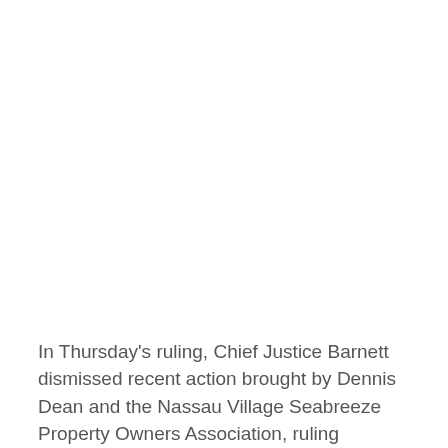In Thursday's ruling, Chief Justice Barnett dismissed recent action brought by Dennis Dean and the Nassau Village Seabreeze Property Owners Association, ruling